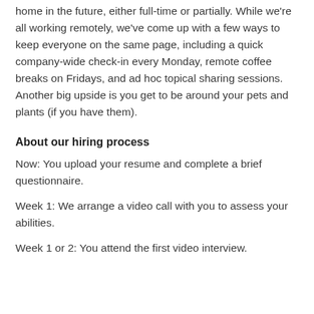home in the future, either full-time or partially. While we're all working remotely, we've come up with a few ways to keep everyone on the same page, including a quick company-wide check-in every Monday, remote coffee breaks on Fridays, and ad hoc topical sharing sessions. Another big upside is you get to be around your pets and plants (if you have them).
About our hiring process
Now: You upload your resume and complete a brief questionnaire.
Week 1: We arrange a video call with you to assess your abilities.
Week 1 or 2: You attend the first video interview.